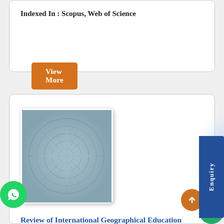Indexed In : Scopus, Web of Science
View More
[Figure (illustration): Compass rose / nautical chart illustration in blue-grey tones, used as journal cover image]
Review of International Geographical Education Online – Q3
ISSN : 2146-0353
Indexed In : Scopus
View More